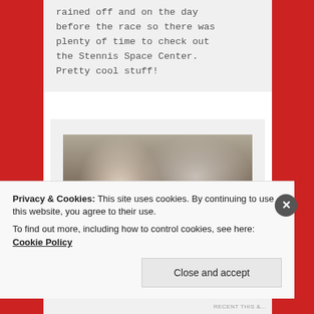rained off and on the day before the race so there was plenty of time to check out the Stennis Space Center. Pretty cool stuff!
[Figure (photo): Group of people, including children and adults, gathered closely together indoors, some bending over, casual clothing visible.]
Privacy & Cookies: This site uses cookies. By continuing to use this website, you agree to their use.
To find out more, including how to control cookies, see here: Cookie Policy
Close and accept